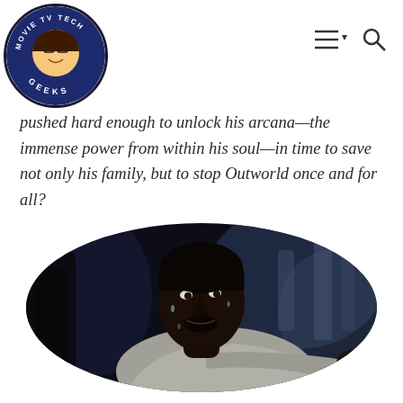Movie TV Tech Geeks — navigation header with logo and menu/search icons
pushed hard enough to unlock his arcana—the immense power from within his soul—in time to save not only his family, but to stop Outworld once and for all?
[Figure (photo): An oval-cropped still from a movie showing a man in a white shirt, sweating and shouting, reaching his fist toward the camera in a dramatic action pose. The background is dark and blurry with blue tones.]